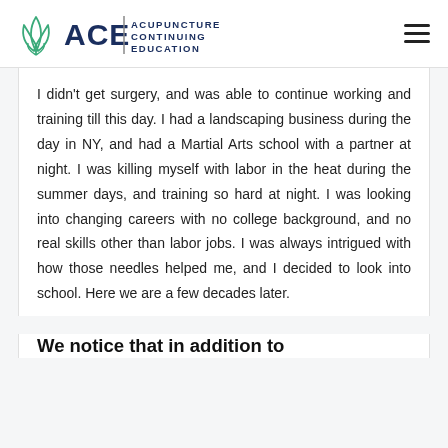[Figure (logo): ACE Acupuncture Continuing Education logo with green leaf icon and dark blue ACE text]
I didn't get surgery, and was able to continue working and training till this day. I had a landscaping business during the day in NY, and had a Martial Arts school with a partner at night. I was killing myself with labor in the heat during the summer days, and training so hard at night. I was looking into changing careers with no college background, and no real skills other than labor jobs. I was always intrigued with how those needles helped me, and I decided to look into school. Here we are a few decades later.
We notice that in addition to